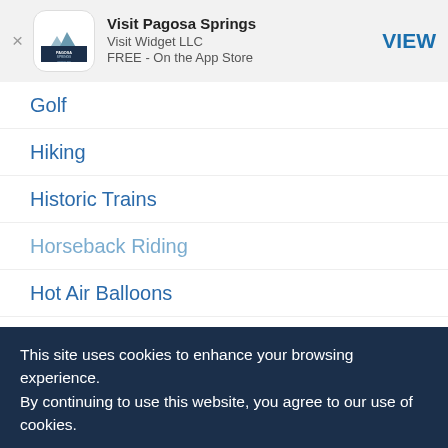[Figure (other): App store banner with Pagosa Springs logo, app name 'Visit Pagosa Springs', developer 'Visit Widget LLC', 'FREE - On the App Store', and a VIEW button]
Golf
Hiking
Historic Trains
Horseback Riding
Hot Air Balloons
Hot Springs
Ice Climbing
Ice Fishing
Ice Skating
Movies
Museum
This site uses cookies to enhance your browsing experience.
By continuing to use this website, you agree to our use of cookies.